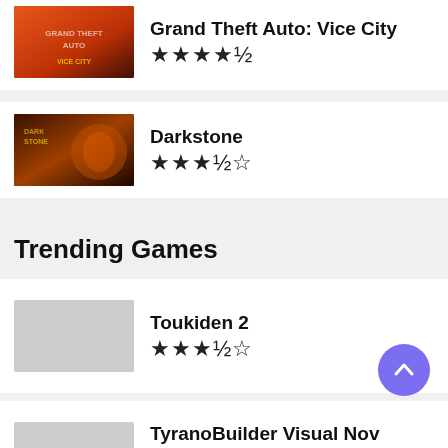Grand Theft Auto: Vice City — 4.5 stars
Darkstone — 3.5 stars
Trending Games
Toukiden 2 — 3.5 stars
TyranoBuilder Visual Novel Studio — 4.5 stars